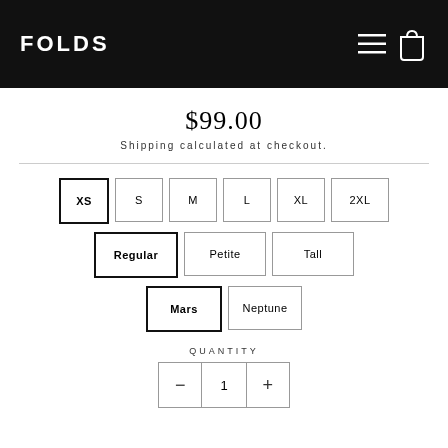FOLDS
$99.00
Shipping calculated at checkout.
XS
S
M
L
XL
2XL
Regular
Petite
Tall
Mars
Neptune
QUANTITY
1